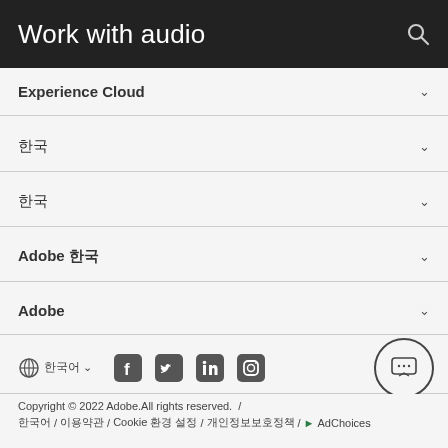Work with audio
Experience Cloud
한국어 (Korean characters)
한국어 (Korean characters)
Adobe 한국
Adobe
[Figure (screenshot): Social media and language selector row with globe icon, language dropdown, Facebook, Twitter, LinkedIn, Instagram icons, and a chat bubble button]
Copyright © 2022 Adobe.All rights reserved.  /  한국어 / 이용약관 / Cookie 환경 설정 / 개인정보 보호정책 /  AdChoices